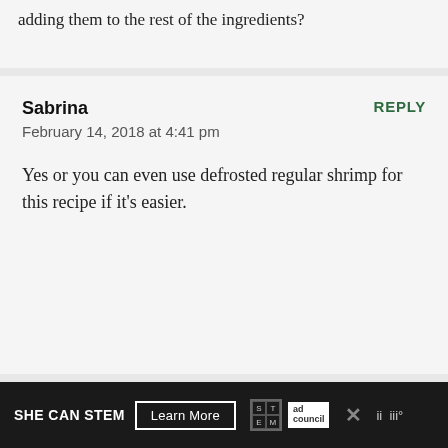adding them to the rest of the ingredients?
Sabrina
REPLY
February 14, 2018 at 4:41 pm
Yes or you can even use defrosted regular shrimp for this recipe if it's easier.
Donald Anderson
REPLY
February 3, 2018 at 11:22 am
How do you know if the Cajun seasoning
SHE CAN STEM   Learn More